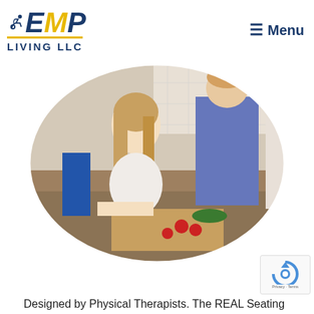[Figure (logo): EMP Living LLC logo with blue and yellow lettering and a wheelchair user figure icon]
≡ Menu
[Figure (photo): Oval-cropped photo of a young woman with long blonde hair sitting at a kitchen counter, smiling at camera, chopping vegetables (tomatoes, greens) on a cutting board; another person in blue top working at the counter in background]
Designed by Physical Therapists. The REAL Seating